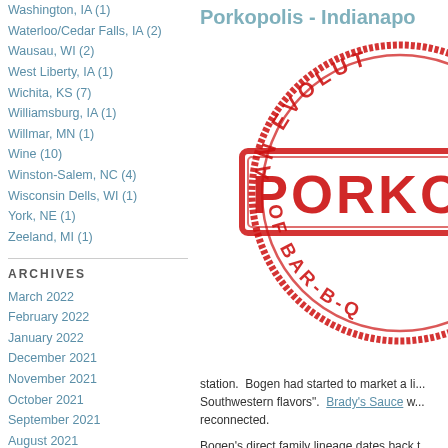Washington, IA (1)
Waterloo/Cedar Falls, IA (2)
Wausau, WI (2)
West Liberty, IA (1)
Wichita, KS (7)
Williamsburg, IA (1)
Willmar, MN (1)
Wine (10)
Winston-Salem, NC (4)
Wisconsin Dells, WI (1)
York, NE (1)
Zeeland, MI (1)
ARCHIVES
March 2022
February 2022
January 2022
December 2021
November 2021
October 2021
September 2021
August 2021
July 2021
June 2021
More...
Porkopolis - Indianapo
[Figure (illustration): Circular red stamp logo reading 'AN EVOLUTION OF BAR-B-Q' around the edge, with 'PORKOPO' in large bold red letters across the center in a rectangular banner.]
station.  Bogen had started to market a li... Southwestern flavors".  Brady's Sauce w... reconnected.
Bogen's direct family lineage dates back t...